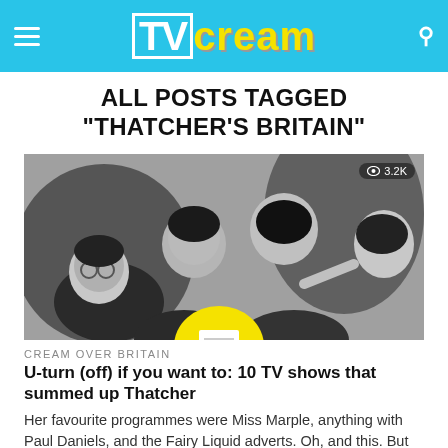TV Cream — navigation header with logo, hamburger menu, and search icon
ALL POSTS TAGGED "THATCHER'S BRITAIN"
[Figure (photo): Black and white photograph of several young boys/teenagers huddled together looking at something, with a yellow circular object partially visible at the bottom. A view count badge showing '3.2K' is overlaid in the top-right corner.]
CREAM OVER BRITAIN
U-turn (off) if you want to: 10 TV shows that summed up Thatcher
Her favourite programmes were Miss Marple, anything with Paul Daniels, and the Fairy Liquid adverts. Oh, and this. But that was about...